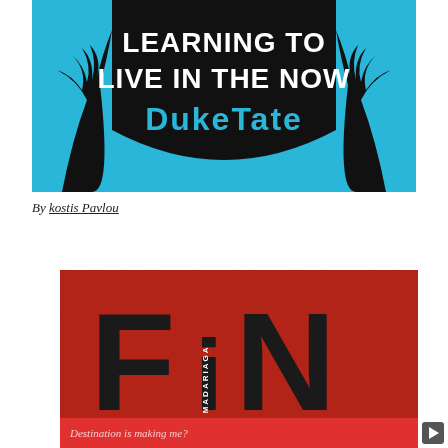[Figure (illustration): Book cover for 'Learning to Live in the Now' by Duke Tate. Blue background with black silhouette shield shape and palm trees. White uppercase text 'LEARNING TO LIVE IN THE NOW' and cyan text 'DukeTate'.]
By kostis Pavlou
[Figure (illustration): Book cover for 'FiN' by Luc Madariaga. Red textured background with large bold black letters 'FiN' and vertical text 'LUC MADARIAGA' along left side.]
Destination is making me?